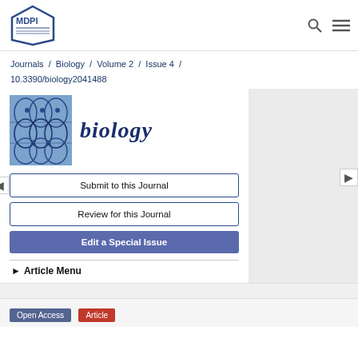[Figure (logo): MDPI hexagonal logo in top left]
Journals / Biology / Volume 2 / Issue 4 / 10.3390/biology2041488
[Figure (illustration): Biology journal cover image with DNA/fish motif in blue]
biology
Submit to this Journal
Review for this Journal
Edit a Special Issue
► Article Menu
Open Access  Article